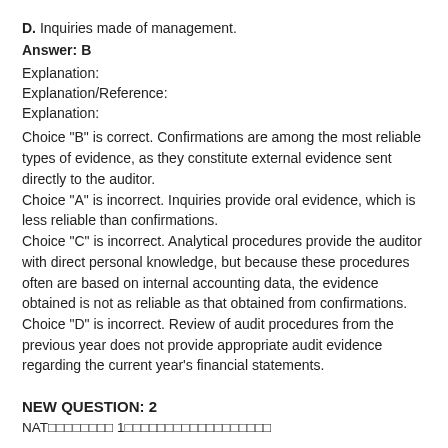D. Inquiries made of management.
Answer: B
Explanation:
Explanation/Reference:
Explanation:
Choice "B" is correct. Confirmations are among the most reliable types of evidence, as they constitute external evidence sent directly to the auditor. Choice "A" is incorrect. Inquiries provide oral evidence, which is less reliable than confirmations. Choice "C" is incorrect. Analytical procedures provide the auditor with direct personal knowledge, but because these procedures often are based on internal accounting data, the evidence obtained is not as reliable as that obtained from confirmations. Choice "D" is incorrect. Review of audit procedures from the previous year does not provide appropriate audit evidence regarding the current year's financial statements.
NEW QUESTION: 2
NAT□□□□□□□□ 1□□□□□□□□□□□□□□□□□□